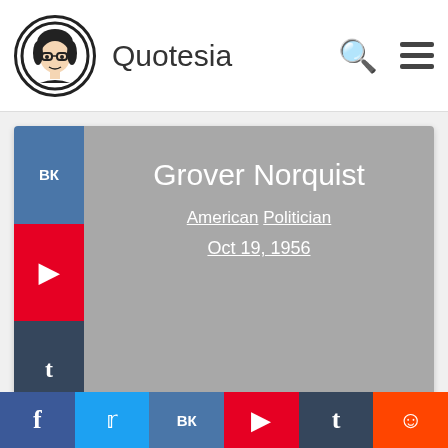Quotesia
[Figure (infographic): Card for Grover Norquist — American Politician, Oct 19, 1956, with social share buttons (VK, Pinterest, Tumblr, Reddit)]
[Figure (infographic): Card for Heikki Kovalainen — Finnish Driver, Oct 19, 1981, with social share buttons (Facebook, Twitter, VK, Pinterest)]
Social share bar: Facebook, Twitter, VK, Pinterest, Tumblr, Reddit